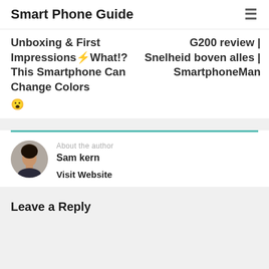Smart Phone Guide
Unboxing & First Impressions⚡What!? This Smartphone Can Change Colors 😮
G200 review | Snelheid boven alles | SmartphoneMan
About the author
Sam kern
Visit Website
Leave a Reply